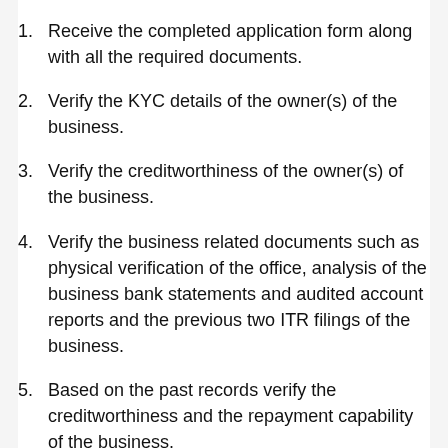1. Receive the completed application form along with all the required documents.
2. Verify the KYC details of the owner(s) of the business.
3. Verify the creditworthiness of the owner(s) of the business.
4. Verify the business related documents such as physical verification of the office, analysis of the business bank statements and audited account reports and the previous two ITR filings of the business.
5. Based on the past records verify the creditworthiness and the repayment capability of the business.
6. Inform the applicants of their final eligibility...